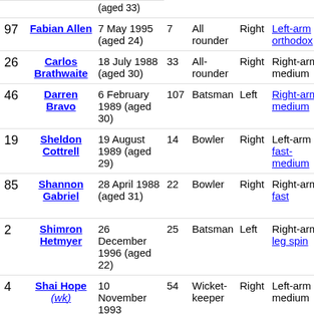| # | Name | DOB | Caps | Role | Bat | Bowl | Team |
| --- | --- | --- | --- | --- | --- | --- | --- |
| 97 | Fabian Allen | 7 May 1995 (aged 24) | 7 | All rounder | Right | Left-arm orthodox | Jamai... |
| 26 | Carlos Brathwaite | 18 July 1988 (aged 30) | 33 | All-rounder | Right | Right-arm medium | Barba... |
| 46 | Darren Bravo | 6 February 1989 (aged 30) | 107 | Batsman | Left | Right-arm medium | Trinid and Tobag... |
| 19 | Sheldon Cottrell | 19 August 1989 (aged 29) | 14 | Bowler | Right | Left-arm fast-medium | Jamai... |
| 85 | Shannon Gabriel | 28 April 1988 (aged 31) | 22 | Bowler | Right | Right-arm fast | Trinid and Tobag... |
| 2 | Shimron Hetmyer | 26 December 1996 (aged 22) | 25 | Batsman | Left | Right-arm leg spin | Guyan... |
| 4 | Shai Hope (wk) | 10 November 1993 | 54 | Wicket-keeper | Right | Left-arm medium | Barba... |